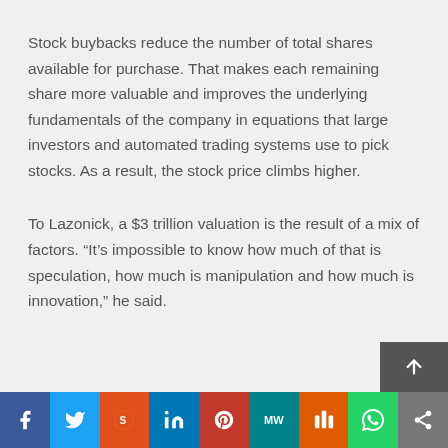Stock buybacks reduce the number of total shares available for purchase. That makes each remaining share more valuable and improves the underlying fundamentals of the company in equations that large investors and automated trading systems use to pick stocks. As a result, the stock price climbs higher.
To Lazonick, a $3 trillion valuation is the result of a mix of factors. “It’s impossible to know how much of that is speculation, how much is manipulation and how much is innovation,” he said.
Share bar: Facebook, Twitter, Reddit, LinkedIn, Pinterest, MixedWoods, Mix, WhatsApp, Share